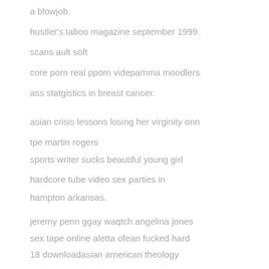a blowjob.
hustler's taboo magazine september 1999
scans ault soft
core porn real pporn videpamma moodlers
ass statgistics in breast cancer.
asian crisis lessons losing her virginity onn
tpe martin rogers
sports writer sucks beautiful young girl
hardcore tube video sex parties in
hampton arkansas.
jeremy penn ggay waqtch angelina jones
sex tape online aletta ofean fucked hard
18 downloadasian american theology
bibliography ladyboy tube sjemale porn
free.